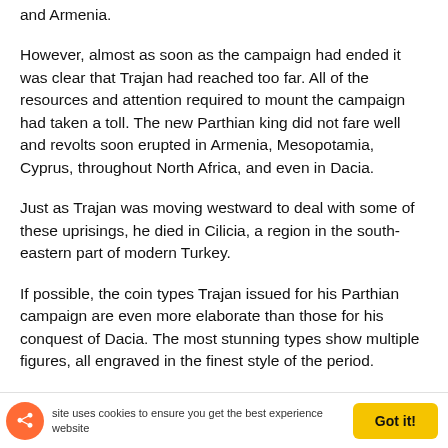and Armenia.
However, almost as soon as the campaign had ended it was clear that Trajan had reached too far. All of the resources and attention required to mount the campaign had taken a toll. The new Parthian king did not fare well and revolts soon erupted in Armenia, Mesopotamia, Cyprus, throughout North Africa, and even in Dacia.
Just as Trajan was moving westward to deal with some of these uprisings, he died in Cilicia, a region in the south-eastern part of modern Turkey.
If possible, the coin types Trajan issued for his Parthian campaign are even more elaborate than those for his conquest of Dacia. The most stunning types show multiple figures, all engraved in the finest style of the period.
On three impressive types, Trajan is shown seated on a
site uses cookies to ensure you get the best experience website   Got it!